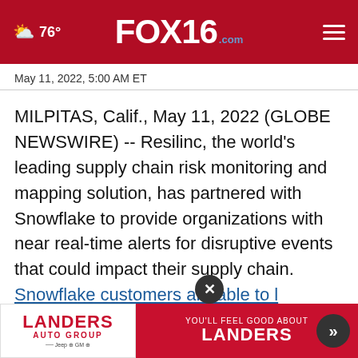☁ 76° FOX16.com ≡
May 11, 2022, 5:00 AM ET
MILPITAS, Calif., May 11, 2022 (GLOBE NEWSWIRE) -- Resilinc, the world's leading supply chain risk monitoring and mapping solution, has partnered with Snowflake to provide organizations with near real-time alerts for disruptive events that could impact their supply chain. Snowflake customers are able to leverage Resilinc's EventWatchAI, a 24/7 global event...es
[Figure (other): Landers Auto Group advertisement banner with logo and 'You'll Feel Good About Landers' tagline]